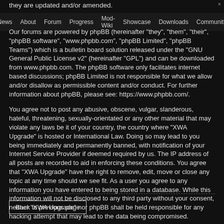they are updated and/or amended.
News   About   Forum   Progress   Mod-Wiki   Showcase   Downloads   Community
Our forums are powered by phpBB (hereinafter "they", "them", "their", "phpBB software", "www.phpbb.com", "phpBB Limited", "phpBB Teams") which is a bulletin board solution released under the "GNU General Public License v2" (hereinafter "GPL") and can be downloaded from www.phpbb.com. The phpBB software only facilitates internet based discussions; phpBB Limited is not responsible for what we allow and/or disallow as permissible content and/or conduct. For further information about phpBB, please see: https://www.phpbb.com/.
You agree not to post any abusive, obscene, vulgar, slanderous, hateful, threatening, sexually-orientated or any other material that may violate any laws be it of your country, the country where "XWA Upgrade" is hosted or International Law. Doing so may lead to you being immediately and permanently banned, with notification of your Internet Service Provider if deemed required by us. The IP address of all posts are recorded to aid in enforcing these conditions. You agree that "XWA Upgrade" have the right to remove, edit, move or close any topic at any time should we see fit. As a user you agree to any information you have entered to being stored in a database. While this information will not be disclosed to any third party without your consent, neither "XWA Upgrade" nor phpBB shall be held responsible for any hacking attempt that may lead to the data being compromised.
Back to previous page